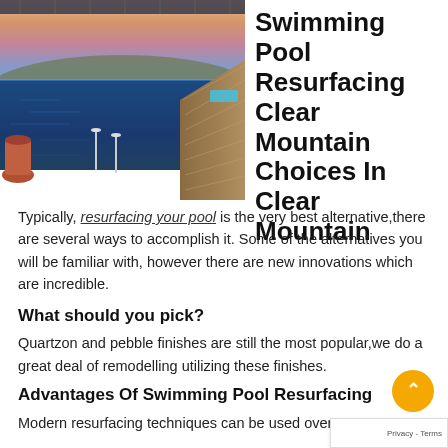[Figure (photo): Aerial/elevated view of an infinity swimming pool overlooking a hillside city at sunset, with wooden deck, loungers, and mountain landscape in background.]
Swimming Pool Resurfacing Clear Mountain Choices In Clear Mountain
Typically, resurfacing your pool is the very best alternative,there are several ways to accomplish it. Some of the alternatives you will be familiar with, however there are new innovations which are incredible.
What should you pick?
Quartzon and pebble finishes are still the most popular,we do a great deal of remodelling utilizing these finishes.
Advantages Of Swimming Pool Resurfacing
Modern resurfacing techniques can be used over any